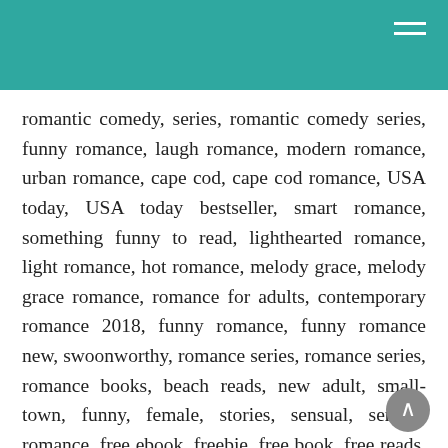romantic comedy, series, romantic comedy series, funny romance, laugh romance, modern romance, urban romance, cape cod, cape cod romance, USA today, USA today bestseller, smart romance, something funny to read, lighthearted romance, light romance, hot romance, melody grace, melody grace romance, romance for adults, contemporary romance 2018, funny romance, funny romance new, swoonworthy, romance series, romance series, romance books, beach reads, new adult, small-town, funny, female, stories, sensual, sensual romance, free ebook, freebie, free book, free reads, free romance novel,